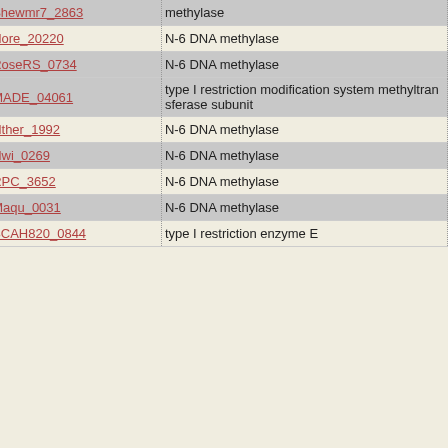|  | NC ID | Gene | Description |
| --- | --- | --- | --- |
| ☐ | NC_008322 | Shewmr7_2863 | methylase |
| ☐ | NC_011899 | Hore_20220 | N-6 DNA methylase |
| ☐ | NC_009523 | RoseRS_0734 | N-6 DNA methylase |
| ☐ | NC_011138 | MADE_04061 | type I restriction-modification system methyltransferase subunit |
| ☐ | NC_010718 | Nther_1992 | N-6 DNA methylase |
| ☐ | NC_007406 | Nwi_0269 | N-6 DNA methylase |
| ☐ | NC_007925 | RPC_3652 | N-6 DNA methylase |
| ☐ | NC_008740 | Maqu_0031 | N-6 DNA methylase |
| ☐ | NC_011773 | BCAH820_0844 | type I restriction enzyme E |